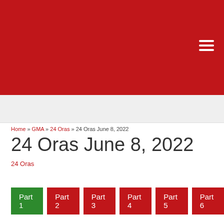[Figure (other): Red header banner with hamburger menu icon (three white horizontal lines) in top right]
Home » GMA » 24 Oras » 24 Oras June 8, 2022
24 Oras June 8, 2022
24 Oras
Part 1
Part 2
Part 3
Part 4
Part 5
Part 6